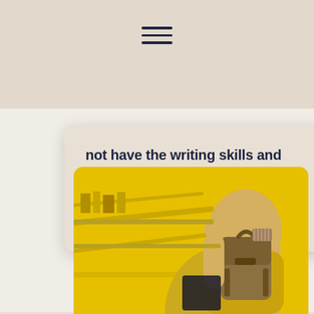not have the writing skills and experience they need for success. The consequences are...
READ MORE
[Figure (photo): Student with backpack viewed from behind, yellow-toned image, appearing to be looking at or posting something on a board or wall]